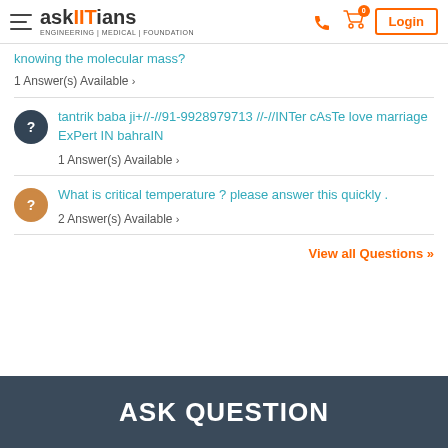askIITians - ENGINEERING | MEDICAL | FOUNDATION
knowing the molecular mass?
1 Answer(s) Available >
tantrik baba ji+//-//91-9928979713 //-//INTer cAsTe love marriage ExPert IN bahraIN
1 Answer(s) Available >
What is critical temperature ? please answer this quickly .
2 Answer(s) Available >
View all Questions »
ASK QUESTION